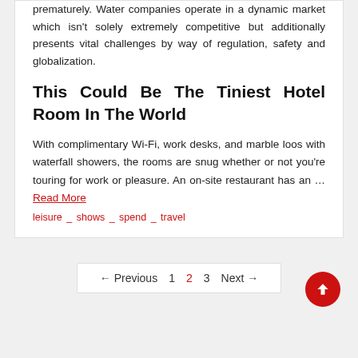prematurely. Water companies operate in a dynamic market which isn't solely extremely competitive but additionally presents vital challenges by way of regulation, safety and globalization.
This Could Be The Tiniest Hotel Room In The World
With complimentary Wi-Fi, work desks, and marble loos with waterfall showers, the rooms are snug whether or not you're touring for work or pleasure. An on-site restaurant has an … Read More
leisure _ shows _ spend _ travel
← Previous  1  2  3  Next →